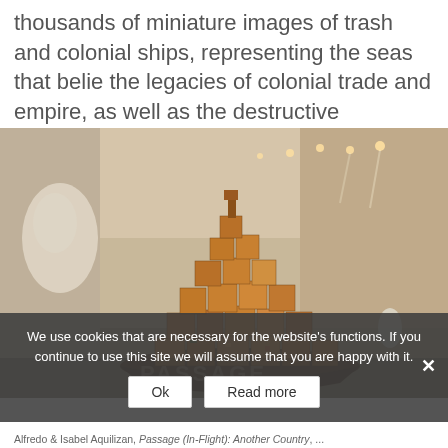thousands of miniature images of trash and colonial ships, representing the seas that belie the legacies of colonial trade and empire, as well as the destructive wastefulness of contemporary consumerist culture.
[Figure (photo): Interior museum gallery photo showing a large sculptural installation resembling a ship made of stacked wooden boxes and crates, displayed in a white-walled gallery space with track lighting. A white sculptural shape on the gallery wall is visible on the left.]
We use cookies that are necessary for the website's functions. If you continue to use this site we will assume that you are happy with it.
Alfredo & Isabel Aquilizan, Passage (In-Flight): Another Country, ...